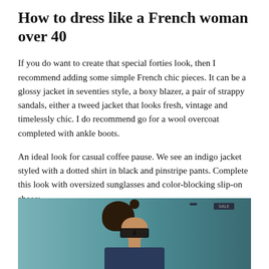How to dress like a French woman over 40
If you do want to create that special forties look, then I recommend adding some simple French chic pieces. It can be a glossy jacket in seventies style, a boxy blazer, a pair of strappy sandals, either a tweed jacket that looks fresh, vintage and timelessly chic. I do recommend go for a wool overcoat completed with ankle boots.
An ideal look for casual coffee pause. We see an indigo jacket styled with a dotted shirt in black and pinstripe pants. Complete this look with oversized sunglasses and color-blocking slip-on shoes:
[Figure (photo): A woman wearing oversized sunglasses with dark hair, photographed from the shoulders up against a street background with store fronts.]